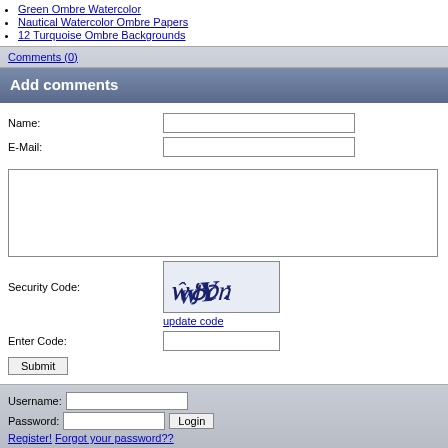Green Ombre Watercolor
Nautical Watercolor Ombre Papers
12 Turquoise Ombre Backgrounds
Comments (0)
Add comments
Name:
E-Mail:
Security Code:
update code
Enter Code:
Submit
Username:
Password:
Login
Register! Forgot your password??